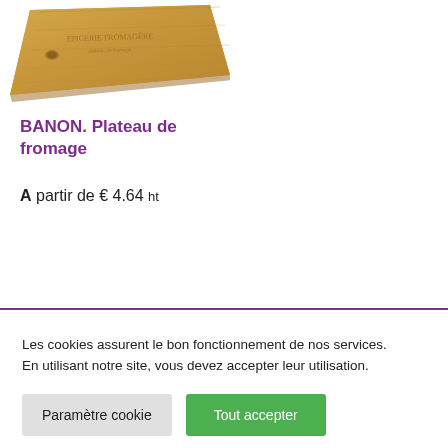[Figure (photo): Bamboo cheese board/cutting board product photo, partially cropped, top portion visible]
BANON. Plateau de fromage
A partir de € 4.64 ht
Les cookies assurent le bon fonctionnement de nos services. En utilisant notre site, vous devez accepter leur utilisation.